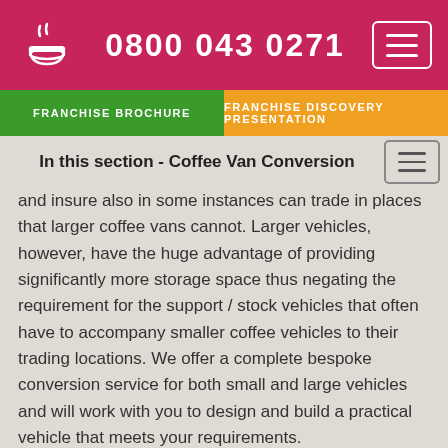0800 043 0271
FRANCHISE BROCHURE | FRANCHISE DISCOVERY PRESENTATION
In this section - Coffee Van Conversion
and insure also in some instances can trade in places that larger coffee vans cannot. Larger vehicles, however, have the huge advantage of providing significantly more storage space thus negating the requirement for the support / stock vehicles that often have to accompany smaller coffee vehicles to their trading locations. We offer a complete bespoke conversion service for both small and large vehicles and will work with you to design and build a practical vehicle that meets your requirements.
Perfect for Events & Functions
All our coffee van conversions are bespoke and can offer both internal and external vending. Many of our conversions are perfect for events trading or trading at